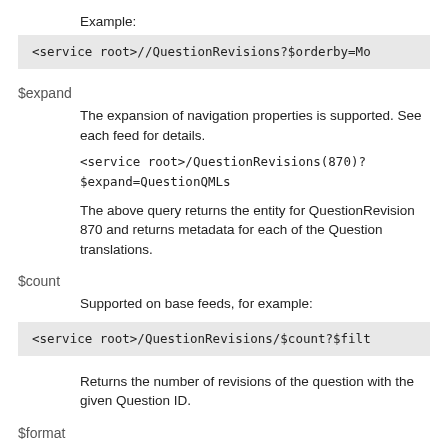Example:
<service root>//QuestionRevisions?$orderby=Mo
$expand
The expansion of navigation properties is supported. See each feed for details.
<service root>/QuestionRevisions(870)?
$expand=QuestionQMLs
The above query returns the entity for QuestionRevision 870 and returns metadata for each of the Question translations.
$count
Supported on base feeds, for example:
<service root>/QuestionRevisions/$count?$filt
Returns the number of revisions of the question with the given Question ID.
$format
The service returns responses using JSON format. The